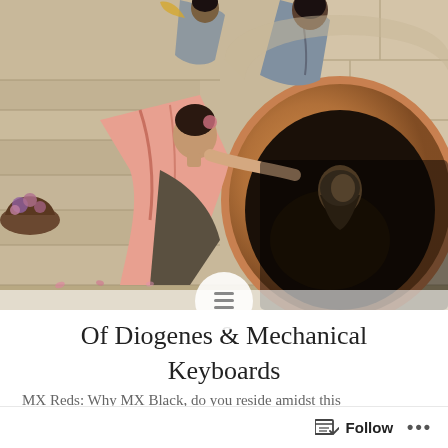[Figure (illustration): Classical painting showing robed figures on stone steps. A woman in pink draping leans toward a large ceramic barrel/vessel, inside which an elderly bearded man (Diogenes) sits. Another figure in grey robes stands above. Stone architecture visible. Flowers and basket on left steps.]
Of Diogenes & Mechanical Keyboards
MX Reds: Why MX Black, do you reside amidst this
Follow ...